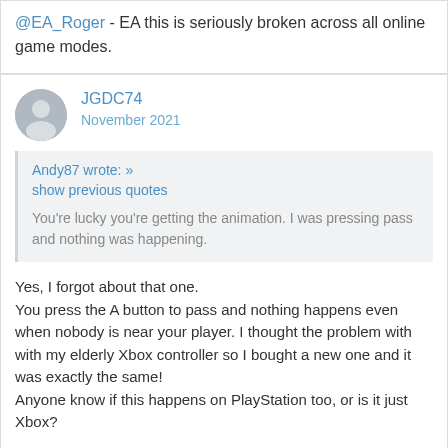@EA_Roger - EA this is seriously broken across all online game modes.
JGDC74
November 2021
Andy87 wrote: »
show previous quotes

You're lucky you're getting the animation. I was pressing pass and nothing was happening.
Yes, I forgot about that one.
You press the A button to pass and nothing happens even when nobody is near your player. I thought the problem with with my elderly Xbox controller so I bought a new one and it was exactly the same!
Anyone know if this happens on PlayStation too, or is it just Xbox?